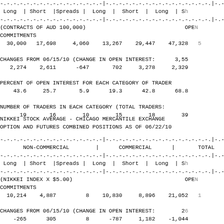| Long | Short | Spreads | Long | Short | Long | Sh |
| --- | --- | --- | --- | --- | --- | --- |
| (CONTRACTS OF AUD 100,000) |  |  |  |  |  | OPEN |
| COMMITMENTS |  |  |  |  |  |  |
| 30,000 | 17,698 | 4,060 | 13,267 | 29,447 | 47,328 | 5 |
| CHANGES FROM 06/15/10 (CHANGE IN OPEN INTEREST: |  |  |  |  |  | 3,55 |
| 2,274 | 2,611 | -647 | 702 | 3,278 | 2,329 |  |
| PERCENT OF OPEN INTEREST FOR EACH CATEGORY OF TRADER |  |  |  |  |  |  |
| 43.6 | 25.7 | 5.9 | 19.3 | 42.8 | 68.8 |  |
| NUMBER OF TRADERS IN EACH CATEGORY (TOTAL TRADERS: |  |  |  |  |  |  |
| 19 | 16 | 10 | 15 | 18 | 39 |  |
NIKKEI STOCK AVERAGE - CHICAGO MERCANTILE EXCHANGE
OPTION AND FUTURES COMBINED POSITIONS AS OF 06/22/10
| NON-COMMERCIAL |  |  | COMMERCIAL |  | TOTAL |  |
| --- | --- | --- | --- | --- | --- | --- |
| Long | Short | Spreads | Long | Short | Long | Sh |
| (NIKKEI INDEX X $5.00) |  |  |  |  |  | OPEN |
| COMMITMENTS |  |  |  |  |  |  |
| 10,214 | 4,887 | 8 | 10,830 | 8,896 | 21,052 | 1 |
| CHANGES FROM 06/15/10 (CHANGE IN OPEN INTEREST: |  |  |  |  | 26 |  |
| -265 | 305 | 8 | -787 | 1,182 | -1,044 |  |